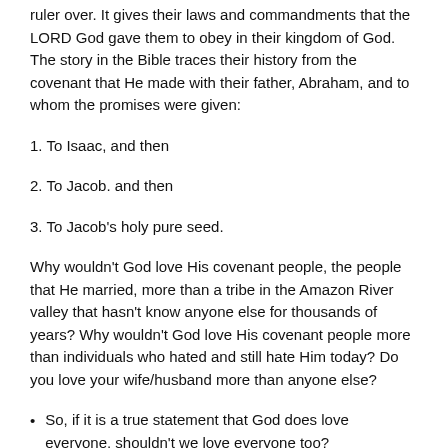ruler over. It gives their laws and commandments that the LORD God gave them to obey in their kingdom of God. The story in the Bible traces their history from the covenant that He made with their father, Abraham, and to whom the promises were given:
1. To Isaac, and then
2. To Jacob. and then
3. To Jacob's holy pure seed.
Why wouldn't God love His covenant people, the people that He married, more than a tribe in the Amazon River valley that hasn't know anyone else for thousands of years? Why wouldn't God love His covenant people more than individuals who hated and still hate Him today? Do you love your wife/husband more than anyone else?
So, if it is a true statement that God does love everyone, shouldn't we love everyone too?